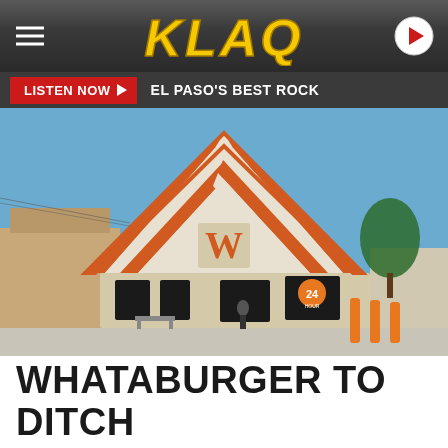KLAQ
LISTEN NOW ▶  EL PASO'S BEST ROCK
[Figure (photo): Exterior photo of a Whataburger restaurant featuring its iconic orange and white A-frame roof with a W logo, situated in a parking lot on a clear sunny day.]
WHATABURGER TO DITCH SIGNATURE A-FRAME BUILDING